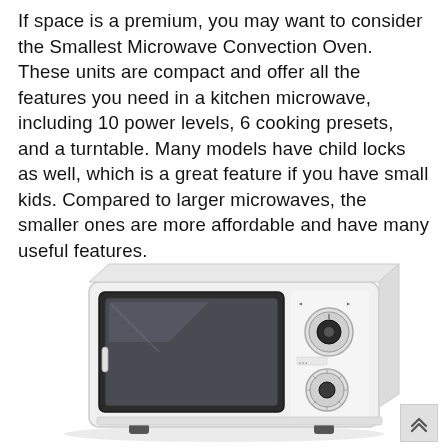If space is a premium, you may want to consider the Smallest Microwave Convection Oven. These units are compact and offer all the features you need in a kitchen microwave, including 10 power levels, 6 cooking presets, and a turntable. Many models have child locks as well, which is a great feature if you have small kids. Compared to larger microwaves, the smaller ones are more affordable and have many useful features.
[Figure (photo): A small white compact microwave convection oven with a dark glass door on the left and two rotary dials/knobs on the right side panel, shown on a white background.]